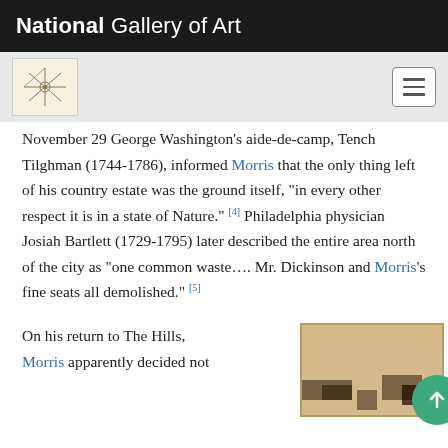National Gallery of Art
November 29 George Washington's aide-de-camp, Tench Tilghman (1744-1786), informed Morris that the only thing left of his country estate was the ground itself, "in every other respect it is in a state of Nature." [4] Philadelphia physician Josiah Bartlett (1729-1795) later described the entire area north of the city as "one common waste…. Mr. Dickinson and Morris's fine seats all demolished." [5]
On his return to The Hills, Morris apparently decided not
[Figure (photo): Partial view of a framed artwork or document image, showing the lower portion with dark markings visible.]